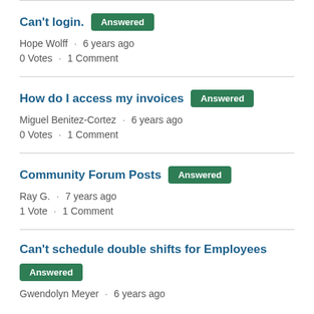Can't login. [Answered]
Hope Wolff · 6 years ago
0 Votes · 1 Comment
How do I access my invoices [Answered]
Miguel Benitez-Cortez · 6 years ago
0 Votes · 1 Comment
Community Forum Posts [Answered]
Ray G. · 7 years ago
1 Vote · 1 Comment
Can't schedule double shifts for Employees [Answered]
Gwendolyn Meyer · 6 years ago